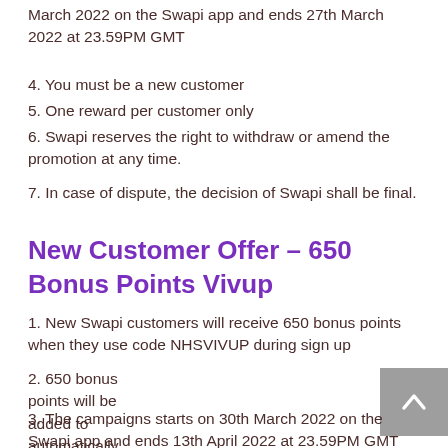March 2022 on the Swapi app and ends 27th March 2022 at 23.59PM GMT
4. You must be a new customer
5. One reward per customer only
6. Swapi reserves the right to withdraw or amend the promotion at any time.
7. In case of dispute, the decision of Swapi shall be final.
New Customer Offer – 650 Bonus Points Vivup
1. New Swapi customers will receive 650 bonus points when they use code NHSVIVUP during sign up
2. 650 bonus points will be added to automatically after sign up process
3. The campaigns starts on 30th March 2022 on the Swapi app and ends 13th April 2022 at 23.59PM GMT
4. You must be a new customer